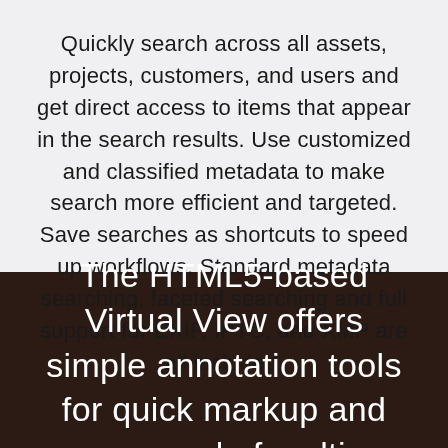Quickly search across all assets, projects, customers, and users and get direct access to items that appear in the search results. Use customized and classified metadata to make search more efficient and targeted. Save searches as shortcuts to speed up workflows. Standard metadata searching, faceted searching and full support for EXIF, IPTC, and XMP are all included.
The HTML5-based Virtual View offers simple annotation tools for quick markup and approval of multi-